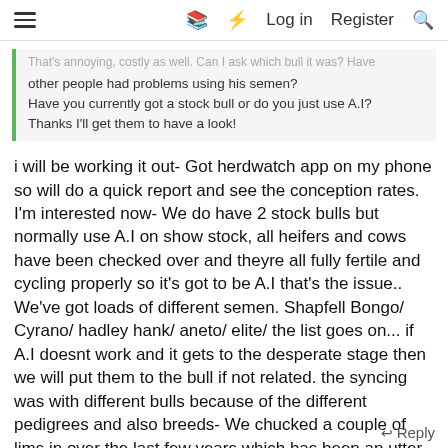≡  📖  ⚡  Log in  Register  🔍
That's annoying, costly as well. Can I ask which bull it was? Have other people had problems using his semen?
Have you currently got a stock bull or do you just use A.I?
Thanks I'll get them to have a look!
i will be working it out- Got herdwatch app on my phone so will do a quick report and see the conception rates. I'm interested now- We do have 2 stock bulls but normally use A.I on show stock, all heifers and cows have been checked over and theyre all fully fertile and cycling properly so it's got to be A.I that's the issue.. We've got loads of different semen. Shapfell Bongo/ Cyrano/ hadley hank/ aneto/ elite/ the list goes on... if A.I doesnt work and it gets to the desperate stage then we will put them to the bull if not related. the syncing was with different bulls because of the different pedigrees and also breeds- We chucked a couple of lims in over the last few years which has been an utter nightmare!!! can't bloody win with this farming lark 🙂
↩ Reply